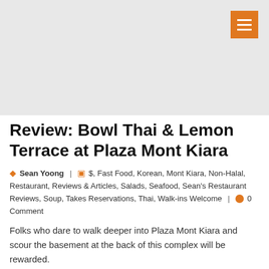[Figure (photo): Hero image area — light gray placeholder banner at top of page with orange hamburger menu button in top right corner]
Review: Bowl Thai & Lemon Terrace at Plaza Mont Kiara
Sean Yoong | $, Fast Food, Korean, Mont Kiara, Non-Halal, Restaurant, Reviews & Articles, Salads, Seafood, Sean's Restaurant Reviews, Soup, Takes Reservations, Thai, Walk-ins Welcome | 0 Comment
Folks who dare to walk deeper into Plaza Mont Kiara and scour the basement at the back of this complex will be rewarded.